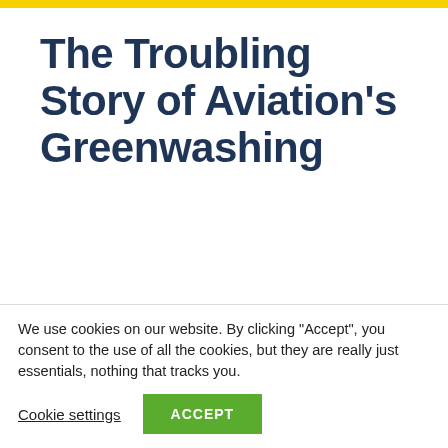The Troubling Story of Aviation's Greenwashing
INFORMATION
Oktober 28, 2021
We use cookies on our website. By clicking “Accept”, you consent to the use of all the cookies, but they are really just essentials, nothing that tracks you.
Cookie settings
ACCEPT